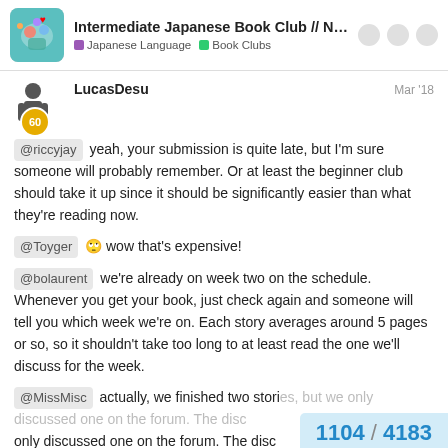Intermediate Japanese Book Club // Now Readi... | Japanese Language | Book Clubs
LucasDesu  Mar '18
@riccyjay yeah, your submission is quite late, but I'm sure someone will probably remember. Or at least the beginner club should take it up since it should be significantly easier than what they're reading now.
@Toyger 🙄 wow that's expensive!
@bolaurent we're already on week two on the schedule. Whenever you get your book, just check again and someone will tell you which week we're on. Each story averages around 5 pages or so, so it shouldn't take too long to at least read the one we'll discuss for the week.
@MissMisc actually, we finished two stori... only discussed one on the forum. The disc...
1104 / 4183